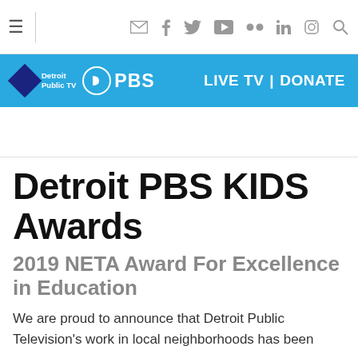≡ (navigation icons: email, facebook, twitter, youtube, flickr, linkedin, instagram, search)
[Figure (logo): Detroit Public TV PBS logo on blue banner with LIVE TV | DONATE links]
Detroit PBS KIDS Awards
2019 NETA Award For Excellence in Education
We are proud to announce that Detroit Public Television's work in local neighborhoods has been